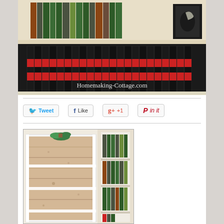[Figure (photo): Bookshelf with encyclopedias and decorative box, watermark 'Homemaking-Cottage.com']
[Figure (infographic): Social sharing buttons: Tweet, Like, +1, Pin it]
[Figure (photo): White bookshelf unit with wood plank backing, partially shown second bookshelf with books on right side]